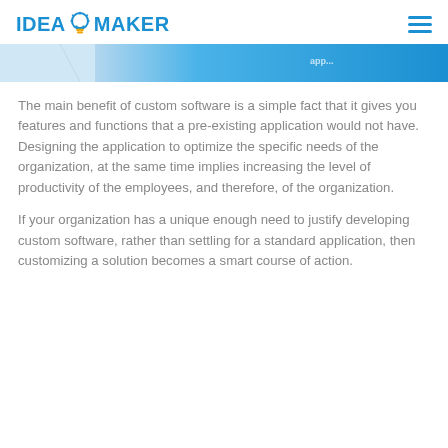IDEA MAKER
[Figure (photo): Partial banner image with blue gradient and a person, partially visible at the top of the content area]
The main benefit of custom software is a simple fact that it gives you features and functions that a pre-existing application would not have. Designing the application to optimize the specific needs of the organization, at the same time implies increasing the level of productivity of the employees, and therefore, of the organization.
If your organization has a unique enough need to justify developing custom software, rather than settling for a standard application, then customizing a solution becomes a smart course of action.